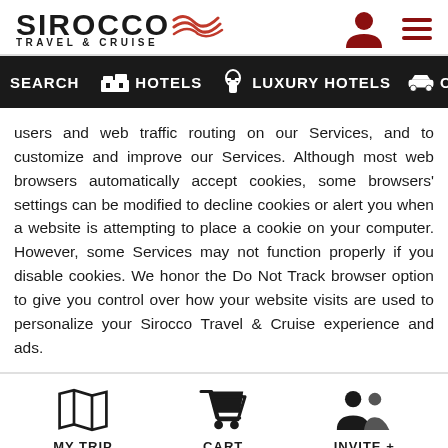[Figure (logo): Sirocco Travel & Cruise logo with red wave graphic, user icon, and hamburger menu]
[Figure (screenshot): Navigation bar with SEARCH, HOTELS, LUXURY HOTELS, CA... menu items on dark background]
users and web traffic routing on our Services, and to customize and improve our Services. Although most web browsers automatically accept cookies, some browsers' settings can be modified to decline cookies or alert you when a website is attempting to place a cookie on your computer. However, some Services may not function properly if you disable cookies. We honor the Do Not Track browser option to give you control over how your website visits are used to personalize your Sirocco Travel & Cruise experience and ads.
[Figure (screenshot): Bottom navigation bar with MY TRIP (map icon), CART (shopping cart icon), and INVITE + (people icon)]